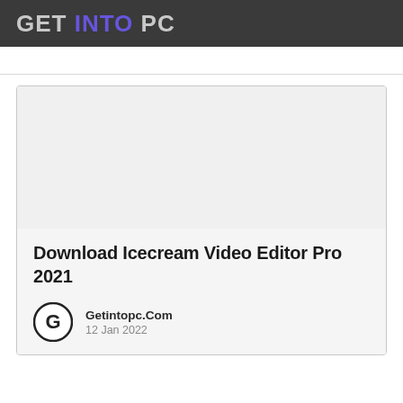GET INTO PC
[Figure (other): Large empty image placeholder area within a card]
Download Icecream Video Editor Pro 2021
Getintopc.Com
12 Jan 2022